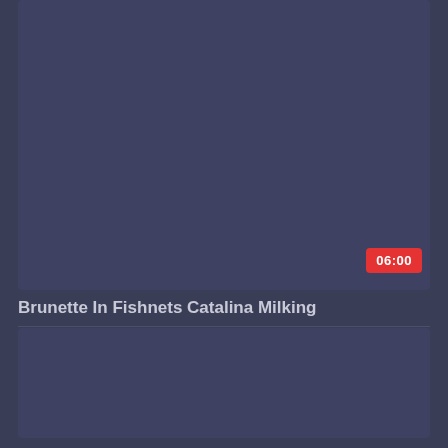[Figure (screenshot): Video thumbnail placeholder — dark slate-blue rectangle representing a video card with a red duration badge showing 06:00 in the bottom-right corner]
06:00
Brunette In Fishnets Catalina Milking
[Figure (screenshot): Second video thumbnail placeholder — dark slate-blue rectangle]